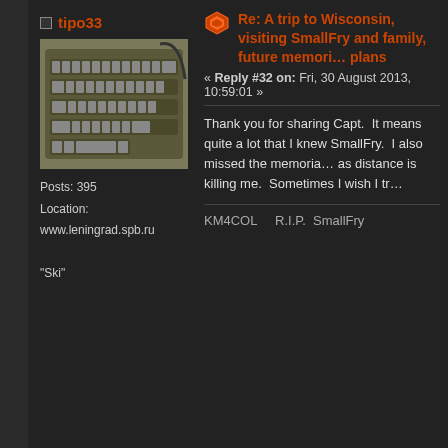tipo33
[Figure (photo): Photo of a keyboard, user avatar for tipo33]
Posts: 395
Location: www.leningrad.spb.ru
"Ski"
Re: A trip to Wisconsin, visiting SmallFry and family, future memories plans
« Reply #32 on: Fri, 30 August 2013, 10:59:01 »
Thank you for sharing Capt.  It means quite a lot that I knew SmallFry.  I also missed the memorial as distance is killing me.  Sometimes I wish I tr
KM4COL    R.I.P.  SmallFry
dmreeves
[Figure (photo): Photo of a person with dreadlocks, user avatar for dmreeves]
Posts: 34
Location: San Diego, CA USA
Re: A trip to Wisconsin, visiting SmallFry and family, future memories plans
« Reply #33 on: Wed, 04 September 2013, 16:37:3
I didn't know Smallfry personally but I can sa thinking coming out of this tragedy. First the the countless others that will benefit from th glad that a tragedy such as this has spurred lives of others. Thanks for posting.

Sorry for your loss friends and fam.